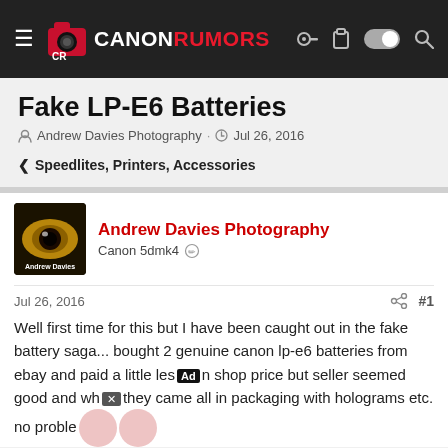Canon Rumors
Fake LP-E6 Batteries
Andrew Davies Photography · Jul 26, 2016
< Speedlites, Printers, Accessories
Andrew Davies Photography
Canon 5dmk4
Jul 26, 2016   #1
Well first time for this but I have been caught out in the fake battery saga... bought 2 genuine canon lp-e6 batteries from ebay and paid a little less than shop price but seller seemed good and when they came all in packaging with holograms etc. no problem...